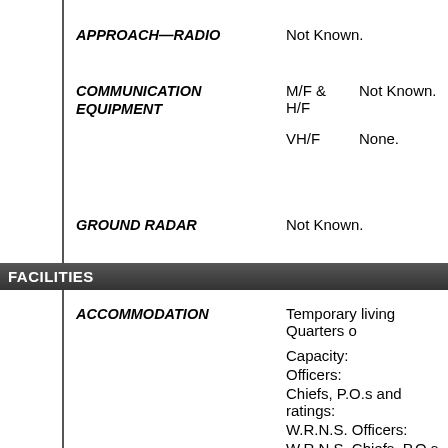APPROACH—RADIO: Not Known.
COMMUNICATION EQUIPMENT: M/F & H/F Not Known. VH/F None.
GROUND RADAR: Not Known.
FACILITIES
ACCOMMODATION: Temporary living Quarters e... Capacity: Officers: Chiefs, P.O.s and ratings: W.R.N.S. Officers: W.R.N.S. Chiefs, P.O.s and